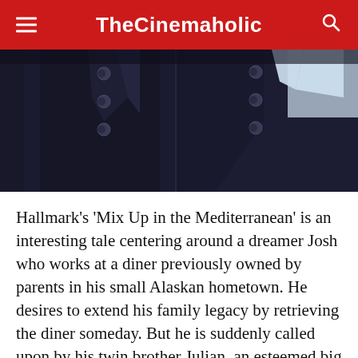TheCinemaholic
[Figure (photo): Close-up photo of two people in dark navy jackets with silver buttons, cropped to show torsos only]
Hallmark's 'Mix Up in the Mediterranean' is an interesting tale centering around a dreamer Josh who works at a diner previously owned by parents in his small Alaskan hometown. He desires to extend his family legacy by retrieving the diner someday. But he is suddenly called upon by his twin brother Julian, an esteemed big city chef who injures himself. Josh now has to fill in as and for his brother to compete in a